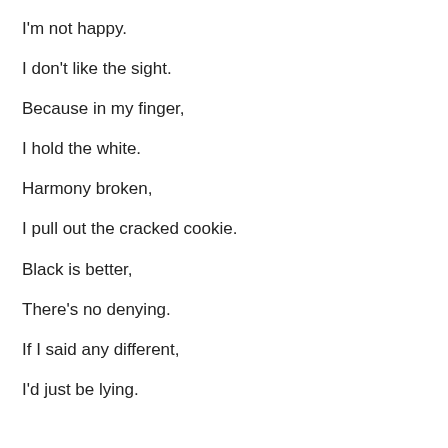I'm not happy.
I don't like the sight.
Because in my finger,
I hold the white.
Harmony broken,
I pull out the cracked cookie.
Black is better,
There's no denying.
If I said any different,
I'd just be lying.